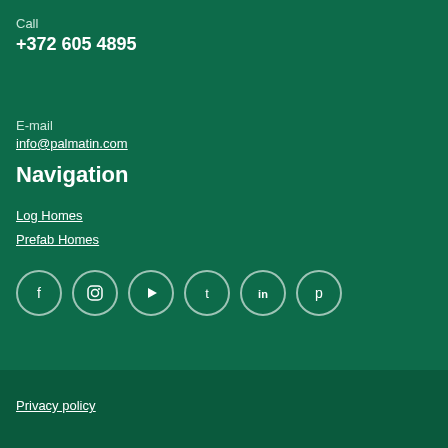Call
+372 605 4895
E-mail
info@palmatin.com
Navigation
Log Homes
Prefab Homes
[Figure (other): Social media icons row: Facebook, Instagram, YouTube, Twitter, LinkedIn, Pinterest]
Privacy policy